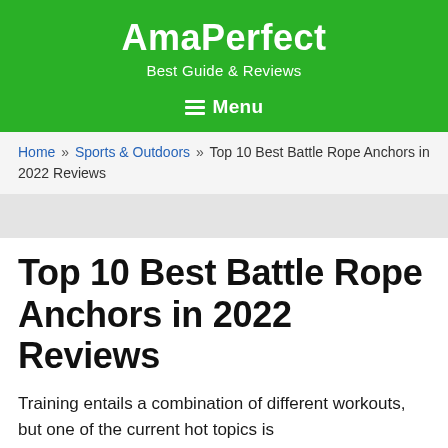AmaPerfect
Best Guide & Reviews
Menu
Home » Sports & Outdoors » Top 10 Best Battle Rope Anchors in 2022 Reviews
Top 10 Best Battle Rope Anchors in 2022 Reviews
Training entails a combination of different workouts, but one of the current hot topics is